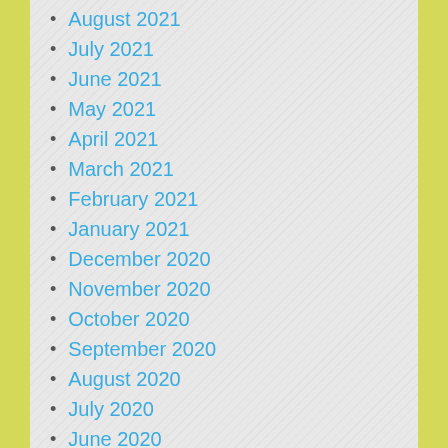August 2021
July 2021
June 2021
May 2021
April 2021
March 2021
February 2021
January 2021
December 2020
November 2020
October 2020
September 2020
August 2020
July 2020
June 2020
May 2020
April 2020
March 2020
February 2020
January 2020